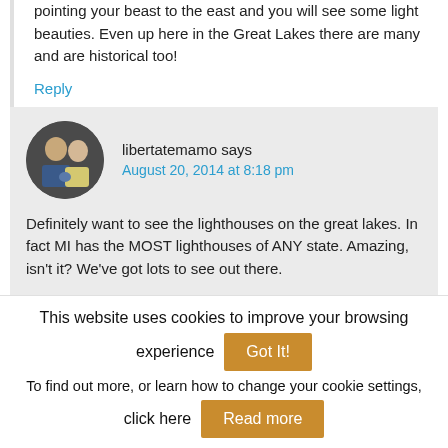pointing your beast to the east and you will see some light beauties. Even up here in the Great Lakes there are many and are historical too!
Reply
libertatemamo says
August 20, 2014 at 8:18 pm
Definitely want to see the lighthouses on the great lakes. In fact MI has the MOST lighthouses of ANY state. Amazing, isn't it? We've got lots to see out there.
This website uses cookies to improve your browsing experience  Got It!  To find out more, or learn how to change your cookie settings, click here  Read more